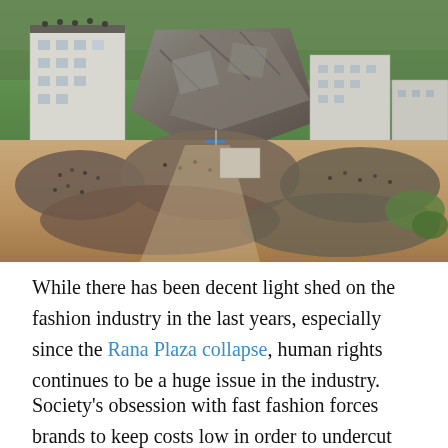[Figure (photo): Aerial view of the Rana Plaza building collapse in Bangladesh, showing a large crowd of people gathered around the collapsed structure amidst surrounding multi-storey buildings.]
While there has been decent light shed on the fashion industry in the last years, especially since the Rana Plaza collapse, human rights continues to be a huge issue in the industry.
Society's obsession with fast fashion forces brands to keep costs low in order to undercut their competitors. As a result, garment workers's wages are continually cut so